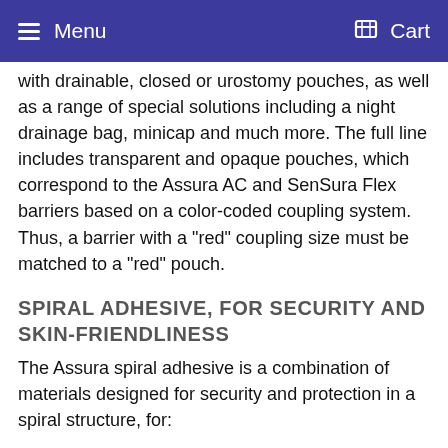Menu  Cart
with drainable, closed or urostomy pouches, as well as a range of special solutions including a night drainage bag, minicap and much more. The full line includes transparent and opaque pouches, which correspond to the Assura AC and SenSura Flex barriers based on a color-coded coupling system. Thus, a barrier with a "red" coupling size must be matched to a "red" pouch.
SPIRAL ADHESIVE, FOR SECURITY AND SKIN-FRIENDLINESS
The Assura spiral adhesive is a combination of materials designed for security and protection in a spiral structure, for:
Secure adherence to your skin
Absorption of moisture from your skin - providing skin-friendliness and protection from irritation